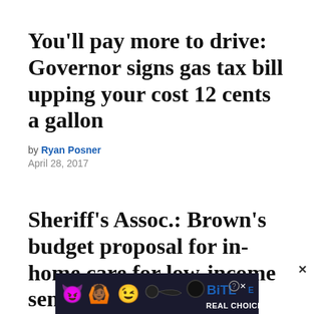You'll pay more to drive: Governor signs gas tax bill upping your cost 12 cents a gallon
by Ryan Posner
April 28, 2017
Sheriff's Assoc.: Brown's budget proposal for in-home care for low-income seniors, disabled would jeopardize public safety
by Debbie L. Sklar
[Figure (other): Advertisement banner for BitLife game app showing devil emoji, person raising hands emoji, winking emoji, sperm emoji, BitLife logo with REAL CHOICES tagline on dark background]